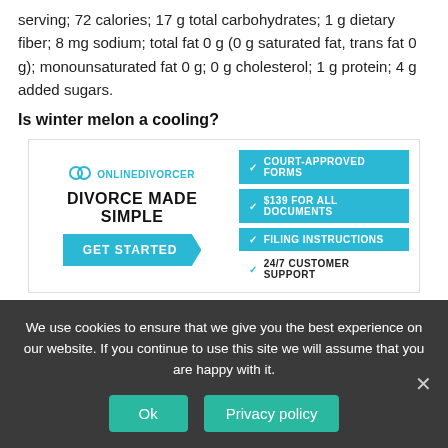serving; 72 calories; 17 g total carbohydrates; 1 g dietary fiber; 8 mg sodium; total fat 0 g (0 g saturated fat, trans fat 0 g); monounsaturated fat 0 g; 0 g cholesterol; 1 g protein; 4 g added sugars.
Is winter melon a cooling?
[Figure (infographic): Online Divorcer advertisement banner with logo, DIVORCE MADE SIMPLE headline, GET STARTED button, and feature list: Court-Approved Forms, $139 for All Documents, Filing Instructions, 24/7 Customer Support]
Winter melon has cooling properties; said to help clear heat and dampness.
We use cookies to ensure that we give you the best experience on our website. If you continue to use this site we will assume that you are happy with it.